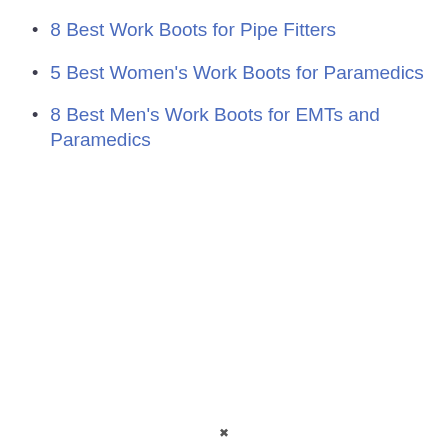8 Best Work Boots for Pipe Fitters
5 Best Women's Work Boots for Paramedics
8 Best Men's Work Boots for EMTs and Paramedics